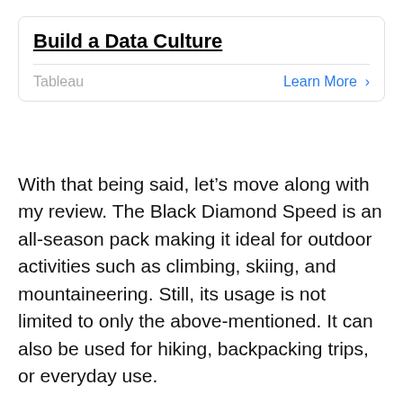Build a Data Culture
Tableau   Learn More >
With that being said, let’s move along with my review. The Black Diamond Speed is an all-season pack making it ideal for outdoor activities such as climbing, skiing, and mountaineering. Still, its usage is not limited to only the above-mentioned. It can also be used for hiking, backpacking trips, or everyday use.
However, if you plan for a long excursion in the wilderness, let’s say 4-5 days; I don’t recommend purchasing the Black Diamond 40 backpack. The pack is best suited for overnight stays or getaways